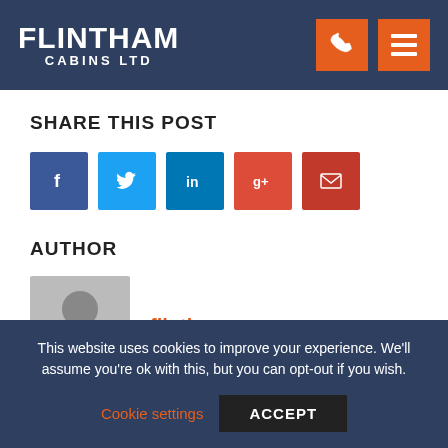FLINTHAM CABINS LTD
SHARE THIS POST
[Figure (infographic): Social share buttons: Facebook, Twitter, LinkedIn, Google+, Email]
AUTHOR
[Figure (photo): Generic user avatar silhouette in grey square]
flintham
This website uses cookies to improve your experience. We'll assume you're ok with this, but you can opt-out if you wish. Cookie settings ACCEPT